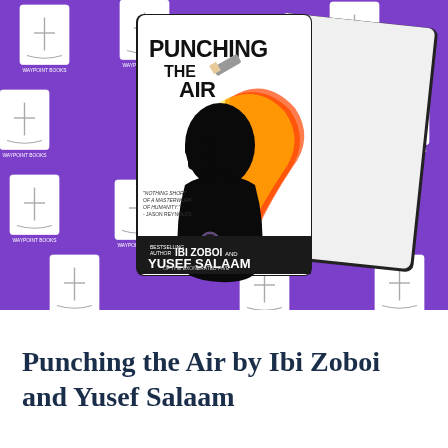[Figure (illustration): Book cover of 'Punching the Air' by Ibi Zoboi and Yusef Salaam of the Exonerated Five. The cover shows a silhouette of a Black youth with colorful swirling flames/hair in orange, red, purple and yellow. A quote reads 'Nothing short of a masterwork of humanity. - Jason Reynolds'. The cover is displayed on a purple tiled background featuring Waypoint Books logos.]
Punching the Air by Ibi Zoboi and Yusef Salaam